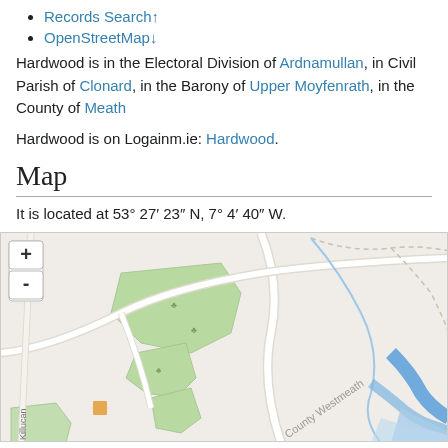Records Search↑
OpenStreetMap↓
Hardwood is in the Electoral Division of Ardnamullan, in Civil Parish of Clonard, in the Barony of Upper Moyfenrath, in the County of Meath
Hardwood is on Logainm.ie: Hardwood.
Map
It is located at 53° 27′ 23″ N, 7° 4′ 40″ W.
[Figure (map): OpenStreetMap showing Hardwood area in County Meath, Ireland. Map shows roads, green areas (fields/parks), a river or waterway in blue on the right side, and a label 'County Westmeath'. Zoom +/- controls visible in top left. Road labeled 'Killucan' visible at bottom left.]